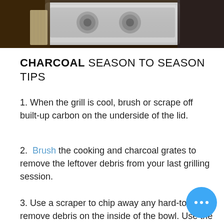[Figure (photo): Photo of a charcoal grill with control dials and accessories, cropped to show top portion]
CHARCOAL SEASON TO SEASON TIPS
1. When the grill is cool, brush or scrape off built-up carbon on the underside of the lid.
2. Brush the cooking and charcoal grates to remove the leftover debris from your last grilling session.
3. Use a scraper to chip away any hard-to-remove debris on the inside of the bowl. Use the One Touch Cleaning System™ to push ashes and debris into the